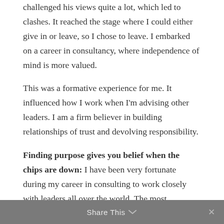challenged his views quite a lot, which led to clashes. It reached the stage where I could either give in or leave, so I chose to leave. I embarked on a career in consultancy, where independence of mind is more valued.
This was a formative experience for me. It influenced how I work when I'm advising other leaders. I am a firm believer in building relationships of trust and devolving responsibility.
Finding purpose gives you belief when the chips are down: I have been very fortunate during my career in consulting to work closely with leaders all over the world. The most inspirational leaders I've seen have a very clear sense of purpose.
They create belief in the future. People inside and
Share This